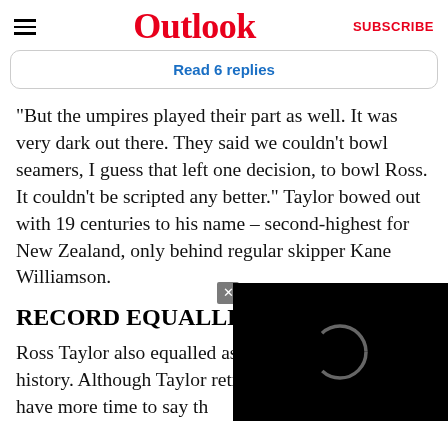Outlook | SUBSCRIBE
Read 6 replies
“But the umpires played their part as well. It was very dark out there. They said we couldn’t bowl seamers, I guess that left one decision, to bowl Ross. It couldn’t be scripted any better.” Taylor bowed out with 19 centuries to his name – second-highest for New Zealand, only behind regular skipper Kane Williamson.
RECORD EQUALLED
Ross Taylor also equalled as New Zealand’s most-c history. Although Taylor retirement from internat have more time to say th